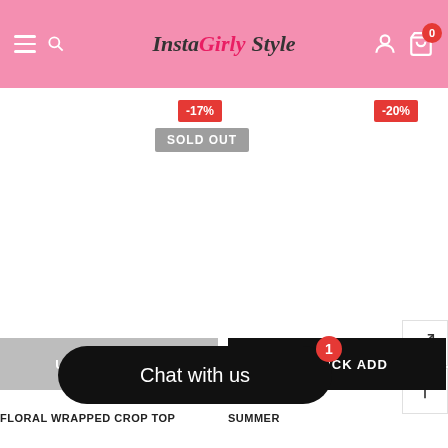InstaGirly Style — navigation header with hamburger menu, search icon, user icon, cart with badge 0
[Figure (screenshot): Discount tag -17% in red]
[Figure (screenshot): Sold Out grey badge]
[Figure (screenshot): Discount tag -20% in red]
[Figure (screenshot): Side button with expand/external link icon]
[Figure (screenshot): Side button with up arrow icon]
UNAVAILABLE
FLORAL WRAPPED CROP TOP
QUICK ADD
SUMMER
Chat with us